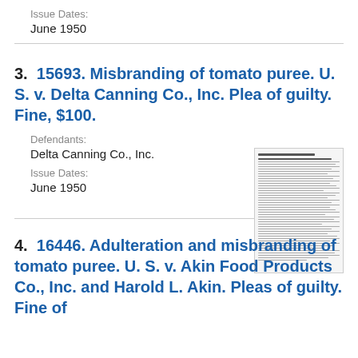Issue Dates:
June 1950
3. 15693. Misbranding of tomato puree. U. S. v. Delta Canning Co., Inc. Plea of guilty. Fine, $100.
Defendants:
Delta Canning Co., Inc.
Issue Dates:
June 1950
[Figure (screenshot): Thumbnail image of a document page with small text]
4. 16446. Adulteration and misbranding of tomato puree. U. S. v. Akin Food Products Co., Inc. and Harold L. Akin. Pleas of guilty. Fine of